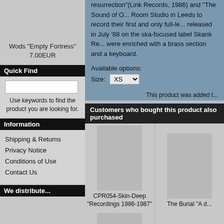resurrection"(Link Records, 1986) and "The Sound of O... Room Studio in Leeds to record their first and only full-le... released in July '88 on the ska-focused label Skank Re... were enriched with a brass section and a keyboard.
Available options:
Size: XS
This product was added t...
Wods "Empty Fortress" 7.00EUR
Quick Find
Use keywords to find the product you are looking for.
Information
Shipping & Returns
Privacy Notice
Conditions of Use
Contact Us
We distribute...
Customers who bought this product also purchased
CPR054-Skin-Deep "Recordings 1986-1987"
The Burial "A d...
CPR053-The Burial "Demos and rarities"